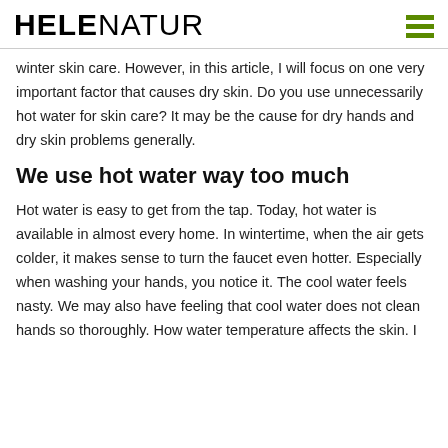HELENATUR
winter skin care. However, in this article, I will focus on one very important factor that causes dry skin. Do you use unnecessarily hot water for skin care? It may be the cause for dry hands and dry skin problems generally.
We use hot water way too much
Hot water is easy to get from the tap. Today, hot water is available in almost every home. In wintertime, when the air gets colder, it makes sense to turn the faucet even hotter. Especially when washing your hands, you notice it. The cool water feels nasty. We may also have feeling that cool water does not clean hands so thoroughly. How water temperature affects the skin. I